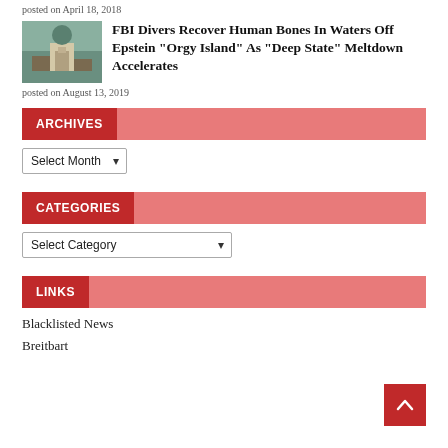posted on April 18, 2018
FBI Divers Recover Human Bones In Waters Off Epstein “Orgy Island” As “Deep State” Meltdown Accelerates
posted on August 13, 2019
ARCHIVES
Select Month
CATEGORIES
Select Category
LINKS
Blacklisted News
Breitbart